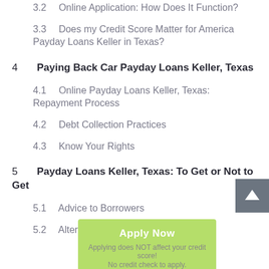3.2  Online Application: How Does It Function?
3.3  Does my Credit Score Matter for America Payday Loans Keller in Texas?
4  Paying Back Car Payday Loans Keller, Texas
4.1  Online Payday Loans Keller, Texas: Repayment Process
4.2  Debt Collection Practices
4.3  Know Your Rights
5  Payday Loans Keller, Texas: To Get or Not to Get
5.1  Advice to Borrowers
5.2  Alternatives to Keller Payday Loans
Apply Now
Applying does NOT affect your credit score!
No credit check to apply.